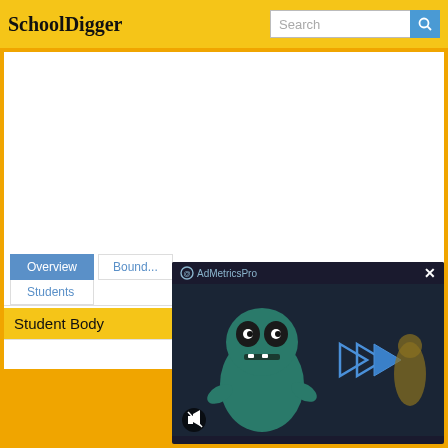SchoolDigger
[Figure (screenshot): SchoolDigger website screenshot showing header with logo, search bar, navigation tabs (Overview, Boundaries, Students), Student Body section, and an AdMetricsPro video ad overlay with animated character]
Overview
Boundaries
Students
Student Body